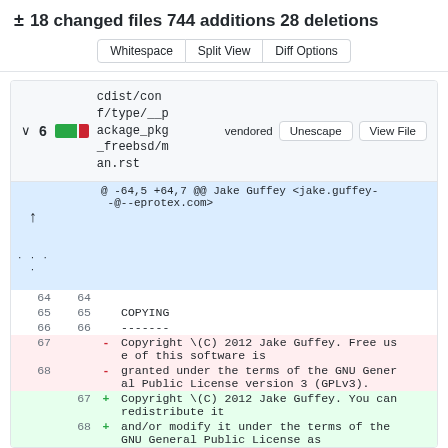± 18 changed files 744 additions 28 deletions
Whitespace | Split View | Diff Options
cdist/conf/type/__package_pkg_freebsd/man.rst  vendored  Unescape  View File
| old | new | sign | content |
| --- | --- | --- | --- |
|  |  |  | @ -64,5 +64,7 @@ Jake Guffey <jake.guffey-@--eprotex.com> |
| 64 | 64 |  |  |
| 65 | 65 |  | COPYING |
| 66 | 66 |  | ------- |
| 67 |  | - | Copyright \(C) 2012 Jake Guffey. Free use of this software is |
| 68 |  | - | granted under the terms of the GNU General Public License version 3 (GPLv3). |
|  | 67 | + | Copyright \(C) 2012 Jake Guffey. You can redistribute it |
|  | 68 | + | and/or modify it under the terms of the GNU General Public License as |